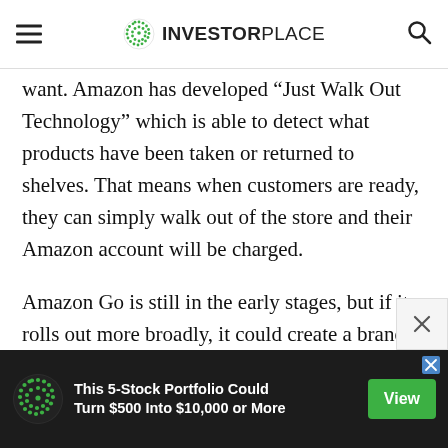INVESTORPLACE
want. Amazon has developed “Just Walk Out Technology” which is able to detect what products have been taken or returned to shelves. That means when customers are ready, they can simply walk out of the store and their Amazon account will be charged.
Amazon Go is still in the early stages, but if it rolls out more broadly, it could create a brand-new type of shopping experience.
E-commerce has caused many big-name stores to
[Figure (infographic): Advertisement banner: dark background with green dotted logo icon, text 'This 5-Stock Portfolio Could Turn $500 Into $10,000 or More', green 'View' button, and close X icon.]